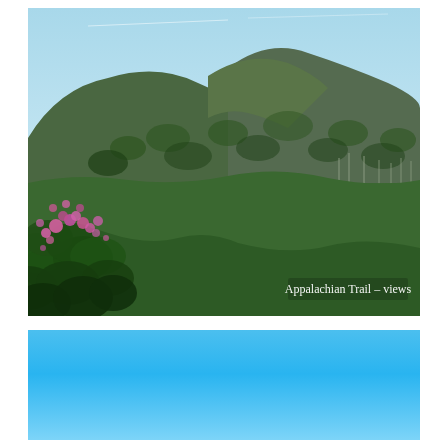[Figure (photo): Scenic view from the Appalachian Trail showing forested green mountains under a blue sky, with pink rhododendron flowers in the foreground left. A caption 'Appalachian Trail – views' is overlaid in white text at the lower center of the image.]
[Figure (photo): A blue sky gradient band — light blue to brighter blue — occupying the lower portion of the page, appearing to be the sky portion of a second photograph cropped at the bottom.]